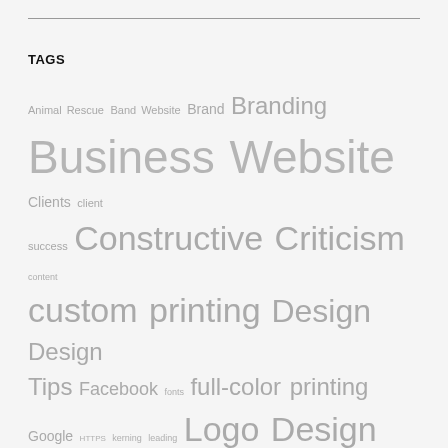TAGS
Animal Rescue Band Website Brand Branding Business Website Clients client success Constructive Criticism content custom printing Design Design Tips Facebook fonts full-color printing Google HTTPS kerning leading Logo Design Marketing Musical Artist packaging Poster quality printing Responsive Web Design Restaurant Website san serif Search Engine Ranking Secure Socket Layer Certificate serif small business